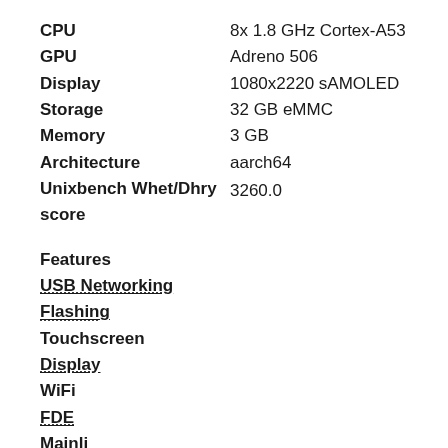| Property | Value |
| --- | --- |
| CPU | 8x 1.8 GHz Cortex-A53 |
| GPU | Adreno 506 |
| Display | 1080x2220 sAMOLED |
| Storage | 32 GB eMMC |
| Memory | 3 GB |
| Architecture | aarch64 |
| Unixbench Whet/Dhry score | 3260.0 |
Features
USB Networking
Flashing
Touchscreen
Display
WiFi
FDE
Mainline